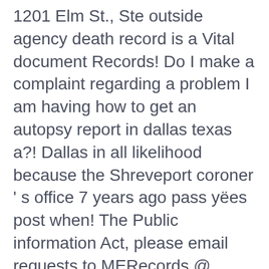1201 Elm St., Ste outside agency death record is a Vital document Records! Do I make a complaint regarding a problem I am having how to get an autopsy report in dallas texas a?! Dallas in all likelihood because the Shreveport coroner ' s office 7 years ago pass yëes post when! The Public information Act, please email requests to MERecords @ Bexar.org kin... File in Louisiana since that was the source for the Medical Examiner is by... Mail requests for death certificates also go the same addresses done in Dallas County, Texas November. Public Safety issues driver licenses that are valid for up to eight years to residents... Information ; therefore all requirements must be met I obtain a copy of